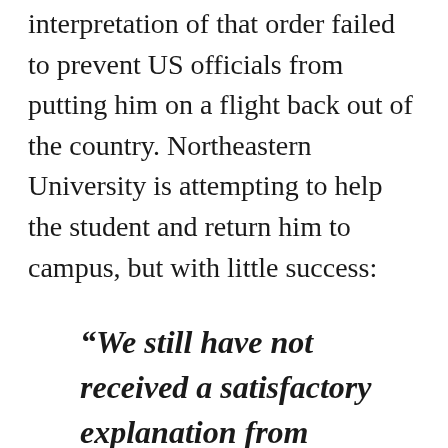interpretation of that order failed to prevent US officials from putting him on a flight back out of the country. Northeastern University is attempting to help the student and return him to campus, but with little success:
“We still have not received a satisfactory explanation from Customs